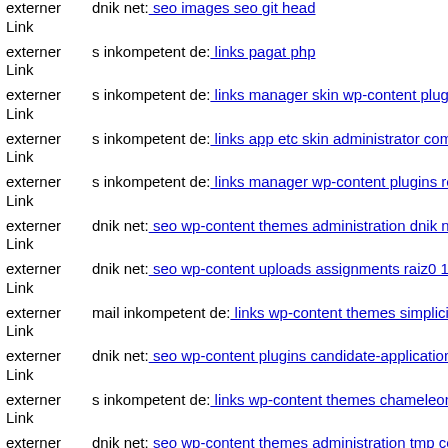externer Link dnik net: seo images seo git head
externer Link s inkompetent de: links pagat php
externer Link s inkompetent de: links manager skin wp-content plugins w...
externer Link s inkompetent de: links app etc skin administrator compone...
externer Link s inkompetent de: links manager wp-content plugins revslid...
externer Link dnik net: seo wp-content themes administration dnik net
externer Link dnik net: seo wp-content uploads assignments raiz0 156008...
externer Link mail inkompetent de: links wp-content themes simplicity m...
externer Link dnik net: seo wp-content plugins candidate-application-form...
externer Link s inkompetent de: links wp-content themes chameleon js dn...
externer Link dnik net: seo wp-content themes administration tmp conten...